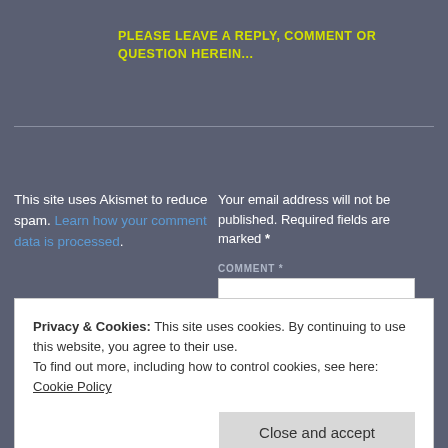PLEASE LEAVE A REPLY, COMMENT OR QUESTION HEREIN...
This site uses Akismet to reduce spam. Learn how your comment data is processed.
Your email address will not be published. Required fields are marked *
COMMENT *
Privacy & Cookies: This site uses cookies. By continuing to use this website, you agree to their use.
To find out more, including how to control cookies, see here:
Cookie Policy
Close and accept